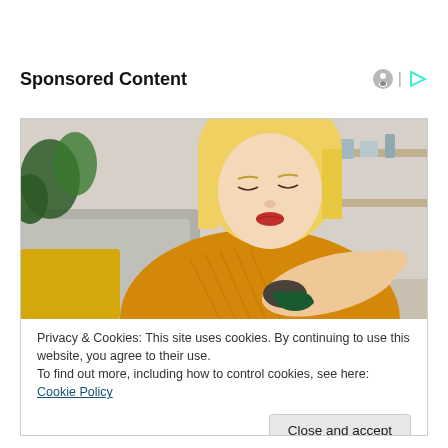Sponsored Content
[Figure (photo): Woman wearing a yellow knit sweater looking at her arm, sitting on a couch with a plant in the background]
Privacy & Cookies: This site uses cookies. By continuing to use this website, you agree to their use.
To find out more, including how to control cookies, see here: Cookie Policy
Close and accept